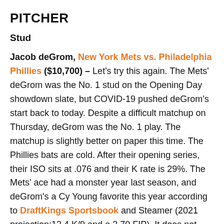PITCHER
Stud
Jacob deGrom, New York Mets vs. Philadelphia Phillies ($10,700) - Let's try this again. The Mets' deGrom was the No. 1 stud on the Opening Day showdown slate, but COVID-19 pushed deGrom's start back to today. Despite a difficult matchup on Thursday, deGrom was the No. 1 play. The matchup is slightly better on paper this time. The Phillies bats are cold. After their opening series, their ISO sits at .076 and their K rate is 29%. The Mets' ace had a monster year last season, and deGrom's a Cy Young favorite this year according to DraftKings Sportsbook and Steamer (2021 projection:12.4 K/9 and a 2.70 FIP). It does not make any sense to fade